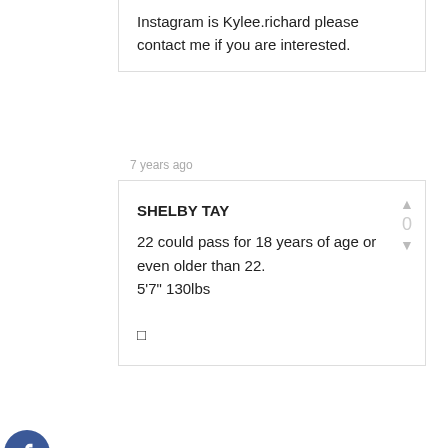Instagram is Kylee.richard please contact me if you are interested.
7 years ago
SHELBY TAY
22 could pass for 18 years of age or even older than 22.
5'7" 130lbs
□
7 years ago
MCKENZIE SMITH
Hi!! I'm McKenzie Smith and I would love to be apart of this movie!! I have pale skin dark